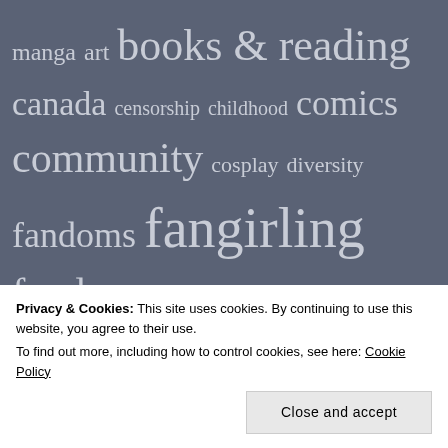[Figure (infographic): Tag cloud with words of varying sizes on a dark slate-blue background. Words include: manga, art, books & reading, canada, censorship, childhood, comics, community, cosplay, diversity, fandoms, fangirling, food, drink, sweets, snacks, dessert, freedom to read, horror creepy morbid etc., Japan (partially visible)]
Privacy & Cookies: This site uses cookies. By continuing to use this website, you agree to their use.
To find out more, including how to control cookies, see here: Cookie Policy
Close and accept